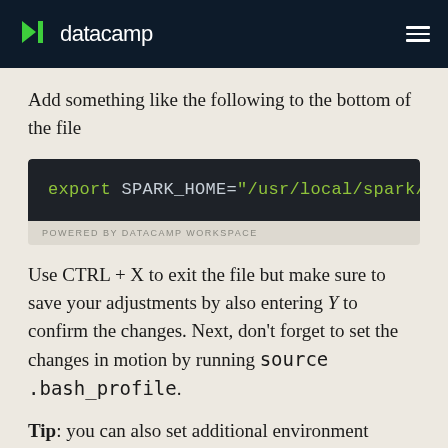datacamp
Add something like the following to the bottom of the file
[Figure (screenshot): Code block showing: export SPARK_HOME="/usr/local/spark/" on dark background with green syntax highlighting. Labeled 'POWERED BY DATACAMP WORKSPACE' below.]
Use CTRL + X to exit the file but make sure to save your adjustments by also entering Y to confirm the changes. Next, don't forget to set the changes in motion by running source .bash_profile.
Tip: you can also set additional environment variables if you want; You probably don't need them, but it's